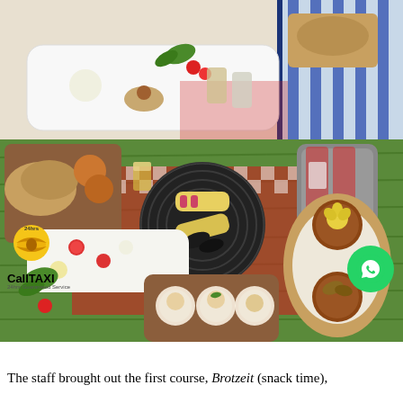[Figure (photo): Two food photography images stacked vertically. Top image shows an elegant picnic basket with small appetizers, radishes, herbs, and drinks on a white tray. Bottom/main image shows an overhead view of a gourmet picnic spread on grass with red-checked tablecloth, featuring multiple plates and wooden boards with various artisan appetizers, bread rolls, dumplings in paper cups, small tarts, and beverages. A 24hrs CallTAXI logo appears in the bottom-left corner and a green WhatsApp button in the bottom-right corner of the photo area.]
The staff brought out the first course, Brotzeit (snack time),